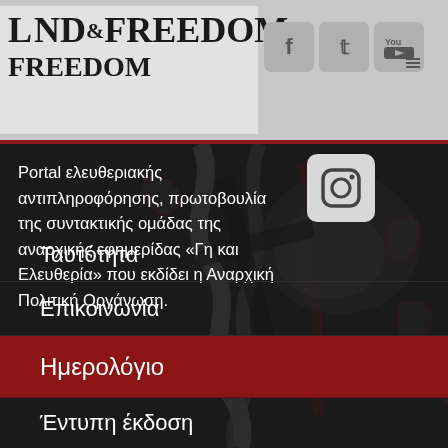LAND & FREEDOM
[Figure (logo): Land & Freedom website logo with decorative emblem]
[Figure (infographic): Social media icons: Facebook, Twitter, YouTube, and hamburger menu in grey rounded squares]
[Figure (infographic): Instagram icon in grey rounded square]
Portal ελευθεριακής αντιπληροφόρησης, πρωτοβουλία της συντακτικής ομάδας της αναρχικής εφημερίδας «Γη και Ελευθερία» που εκδίδει η Αναρχική Πολιτική Οργάνωση.
Ταυτότητα
Επικοινωνία
Ημερολόγιο
Έντυπη έκδοση